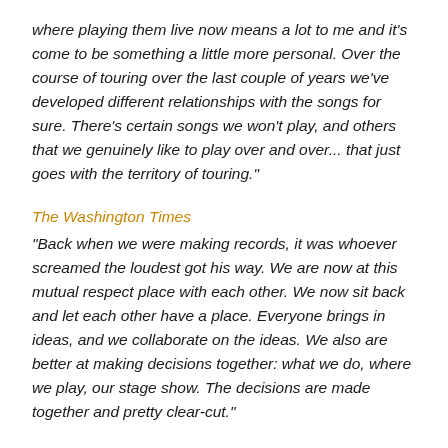where playing them live now means a lot to me and it's come to be something a little more personal. Over the course of touring over the last couple of years we've developed different relationships with the songs for sure. There's certain songs we won't play, and others that we genuinely like to play over and over... that just goes with the territory of touring."
The Washington Times
"Back when we were making records, it was whoever screamed the loudest got his way. We are now at this mutual respect place with each other. We now sit back and let each other have a place. Everyone brings in ideas, and we collaborate on the ideas. We also are better at making decisions together: what we do, where we play, our stage show. The decisions are made together and pretty clear-cut."
2013
After The Show